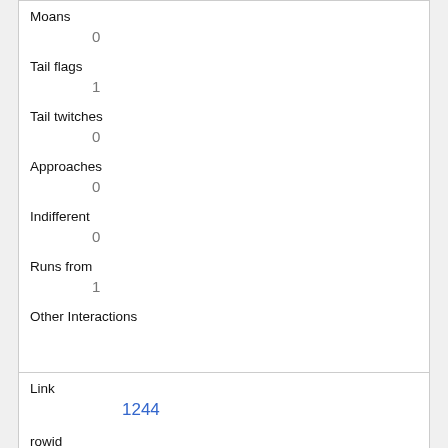| Moans | 0 |
| Tail flags | 1 |
| Tail twitches | 0 |
| Approaches | 0 |
| Indifferent | 0 |
| Runs from | 1 |
| Other Interactions |  |
| Lat/Long | POINT (-73.9790822606486 40.7714466633386) |
| Link | 1244 |
| rowid |  |